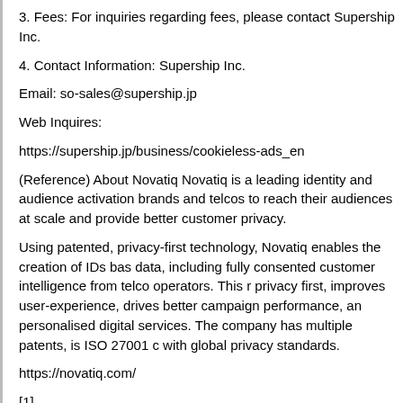3. Fees: For inquiries regarding fees, please contact Supership Inc.
4. Contact Information: Supership Inc.
Email: so-sales@supership.jp
Web Inquires:
https://supership.jp/business/cookieless-ads_en
(Reference) About Novatiq Novatiq is a leading identity and audience activation brands and telcos to reach their audiences at scale and provide better customer privacy.
Using patented, privacy-first technology, Novatiq enables the creation of IDs bas data, including fully consented customer intelligence from telco operators. This r privacy first, improves user-experience, drives better campaign performance, an personalised digital services. The company has multiple patents, is ISO 27001 c with global privacy standards.
https://novatiq.com/
[1]
Data provided by third parties that dont have a direct relationship with the custo
[2]